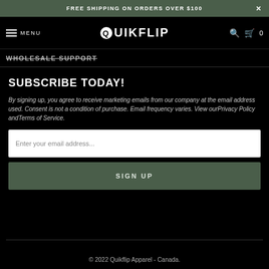FREE SHIPPING ON ORDERS OVER $100
MENU  QUIKFLIP  0
WHOLESALE SUPPORT
SUBSCRIBE TODAY!
By signing up, you agree to receive marketing emails from our company at the email address used. Consent is not a condition of purchase. Email frequency varies. View ourPrivacy Policy andTerms of Service.
Enter your email address...
SIGN UP
© 2022 Quikflip Apparel - Canada.